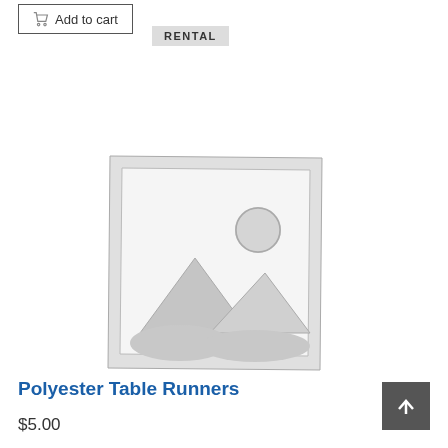Add to cart
RENTAL
[Figure (illustration): Placeholder product image with mountain and sun silhouette inside a square frame with rough edges]
Polyester Table Runners
$5.00